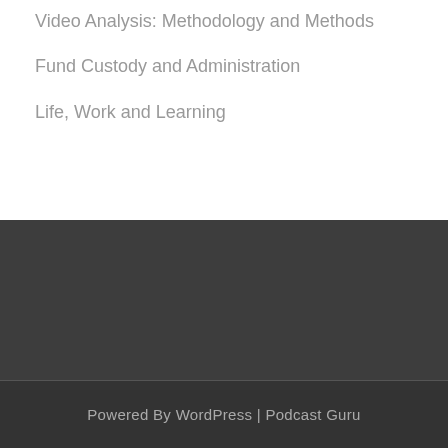Video Analysis: Methodology and Methods
Fund Custody and Administration
Life, Work and Learning
Powered By WordPress | Podcast Guru